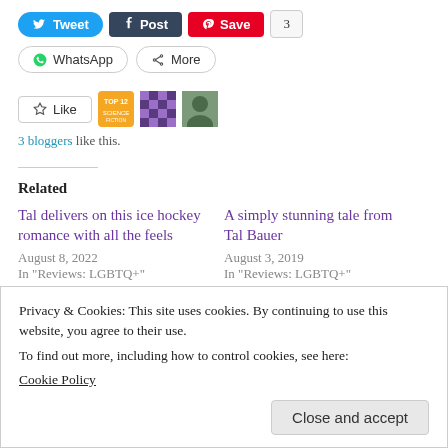[Figure (screenshot): Social sharing buttons row 1: Tweet (blue), Post (dark), Save/Pinterest (red), count badge showing 3]
[Figure (screenshot): Social sharing buttons row 2: WhatsApp, More]
[Figure (screenshot): Like button with star icon and three blogger avatar thumbnails]
3 bloggers like this.
Related
Tal delivers on this ice hockey romance with all the feels
August 8, 2022
In "Reviews: LGBTQ+"
A simply stunning tale from Tal Bauer
August 3, 2019
In "Reviews: LGBTQ+"
Privacy & Cookies: This site uses cookies. By continuing to use this website, you agree to their use.
To find out more, including how to control cookies, see here:
Cookie Policy